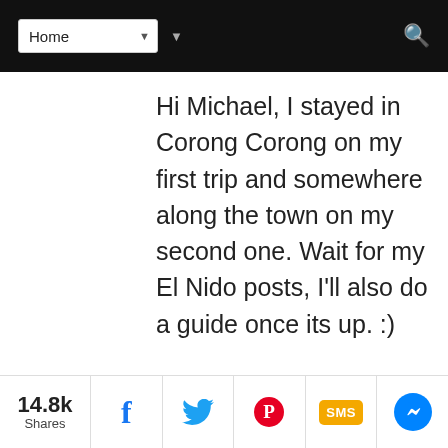Home
Hi Michael, I stayed in Corong Corong on my first trip and somewhere along the town on my second one. Wait for my El Nido posts, I'll also do a guide once its up. :)
Reply
em/boracay
November 15, 2014 at 5:49 PM
14.8k Shares